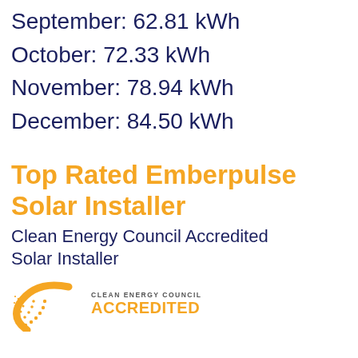September: 62.81 kWh
October: 72.33 kWh
November: 78.94 kWh
December: 84.50 kWh
Top Rated Emberpulse Solar Installer
Clean Energy Council Accredited Solar Installer
[Figure (logo): Clean Energy Council Accredited logo with orange sunburst arc and text 'CLEAN ENERGY COUNCIL ACCREDITED']